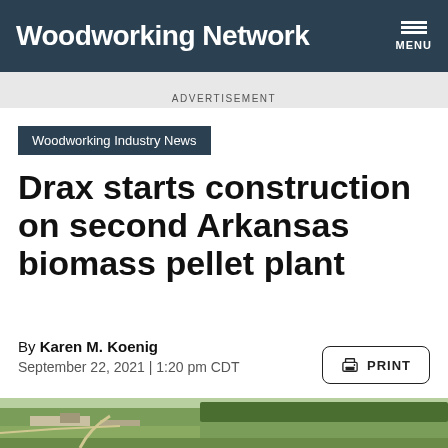Woodworking Network
ADVERTISEMENT
Woodworking Industry News
Drax starts construction on second Arkansas biomass pellet plant
By Karen M. Koenig
September 22, 2021 | 1:20 pm CDT
[Figure (photo): Aerial photograph of a biomass pellet plant facility in Arkansas surrounded by green fields and trees]